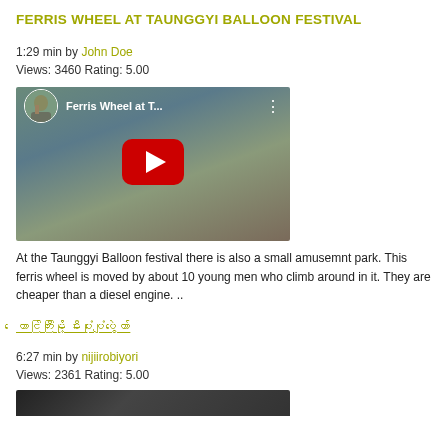FERRIS WHEEL AT TAUNGGYI BALLOON FESTIVAL
1:29 min by John Doe
Views: 3460 Rating: 5.00
[Figure (screenshot): YouTube video thumbnail for 'Ferris Wheel at T...' showing a ferris wheel and a robot statue, with a large red play button in the center.]
At the Taunggyi Balloon festival there is also a small amusemnt park. This ferris wheel is moved by about 10 young men who climb around in it. They are cheaper than a diesel engine. ..
တောင်ကြီးမြို့ မီးပုံးပျံပွဲတော်
6:27 min by nijiirobiyori
Views: 2361 Rating: 5.00
[Figure (screenshot): Partial YouTube video thumbnail, dark background visible at bottom of page.]